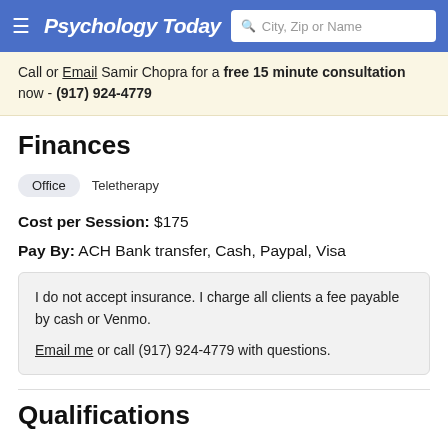Psychology Today — City, Zip or Name search bar
Call or Email Samir Chopra for a free 15 minute consultation now - (917) 924-4779
Finances
Office   Teletherapy
Cost per Session: $175
Pay By: ACH Bank transfer, Cash, Paypal, Visa
I do not accept insurance. I charge all clients a fee payable by cash or Venmo.

Email me or call (917) 924-4779 with questions.
Qualifications